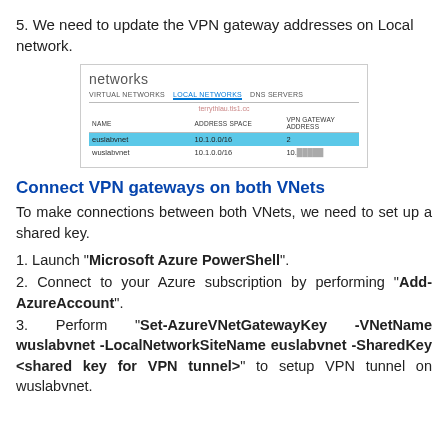5. We need to update the VPN gateway addresses on Local network.
[Figure (screenshot): Azure portal screenshot showing Networks page with Virtual Networks, Local Networks, DNS Servers tabs. A table with NAME, ADDRESS SPACE, VPN GATEWAY ADDRESS columns. Row 'euslabvnet' highlighted in blue with address 10.1.0.0/16, and row 'wuslabvnet' with address 10.1.0.0/16 and a VPN gateway IP starting with 10.]
Connect VPN gateways on both VNets
To make connections between both VNets, we need to set up a shared key.
1. Launch "Microsoft Azure PowerShell".
2. Connect to your Azure subscription by performing "Add-AzureAccount".
3. Perform "Set-AzureVNetGatewayKey -VNetName wuslabvnet -LocalNetworkSiteName euslabvnet -SharedKey <shared key for VPN tunnel>" to setup VPN tunnel on wuslabvnet.